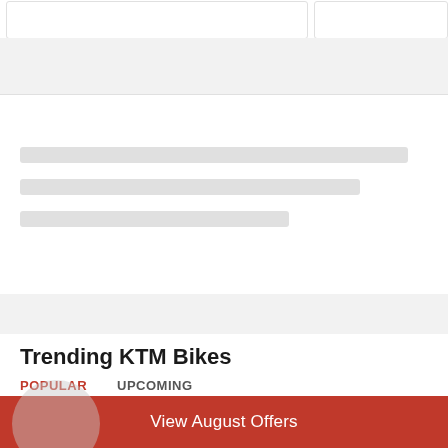[Figure (screenshot): Top area with two card outlines (loading/skeleton state) on white background]
[Figure (screenshot): Gray loading skeleton card with three placeholder lines of varying width]
Trending KTM Bikes
POPULAR    UPCOMING
[Figure (screenshot): Two bike card placeholders (skeleton loading state) side by side]
View August Offers